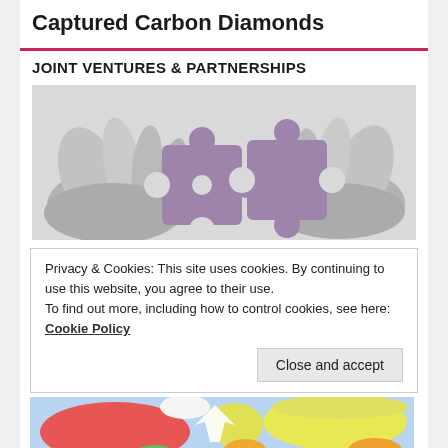Captured Carbon Diamonds
JOINT VENTURES & PARTNERSHIPS
[Figure (photo): Two hands (black and white photo) holding purple puzzle pieces about to connect together, symbolizing partnership.]
Privacy & Cookies: This site uses cookies. By continuing to use this website, you agree to their use.
To find out more, including how to control cookies, see here: Cookie Policy
[Figure (map): Colorful world map showing continents in different colors (yellow, red, green, blue) representing different regions.]